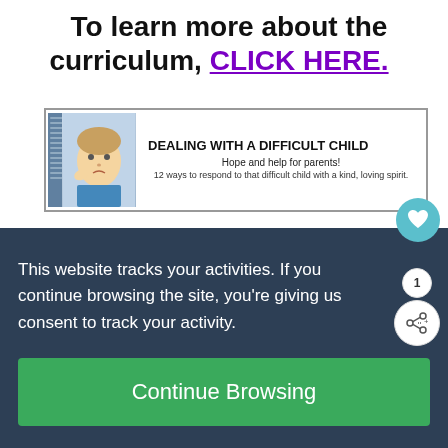To learn more about the curriculum, CLICK HERE.
[Figure (illustration): Book advertisement banner for 'Dealing with a Difficult Child' — shows a book with a child's photo on the cover, title text, and taglines: 'Hope and help for parents!' and '12 ways to respond to that difficult child with a kind, loving spirit.']
This website tracks your activities. If you continue browsing the site, you're giving us consent to track your activity.
Continue Browsing